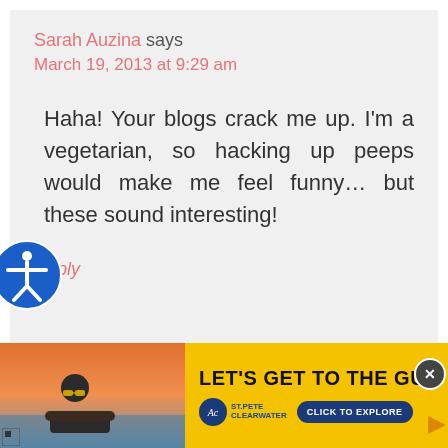Sarah Auzina says
March 19, 2013 at 9:29 am
Haha! Your blogs crack me up. I'm a vegetarian, so hacking up peeps would make me feel funny... but these sound interesting!
Reply
[Figure (infographic): Advertisement banner for St. Pete Clearwater with a woman in sunglasses by a pool at sunset, yellow background, headline LET'S GET TO THE GU[lf], St. Pete Clearwater logo, and CLICK TO EXPLORE button]